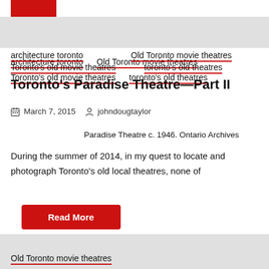[Figure (other): Red button (partial, cropped at top)]
architecture toronto
Old Toronto movie theatres
Toronto's old movie theatres
toronto's old theatres
Toronto's Paradise Theatre—Part II
March 7, 2015   johndougtaylor
Paradise Theatre c. 1946. Ontario Archives
During the summer of 2014, in my quest to locate and photograph Toronto's old local theatres, none of
Read More
Old Toronto movie theatres